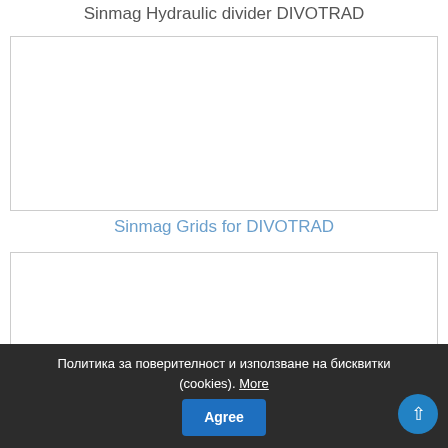Sinmag Hydraulic divider DIVOTRAD
[Figure (photo): Empty white image placeholder box for Sinmag Hydraulic divider DIVOTRAD product photo]
Sinmag Grids for DIVOTRAD
[Figure (photo): Empty white image placeholder box for Sinmag Grids for DIVOTRAD product photo]
Политика за поверителност и използване на бисквитки (cookies). More  Agree